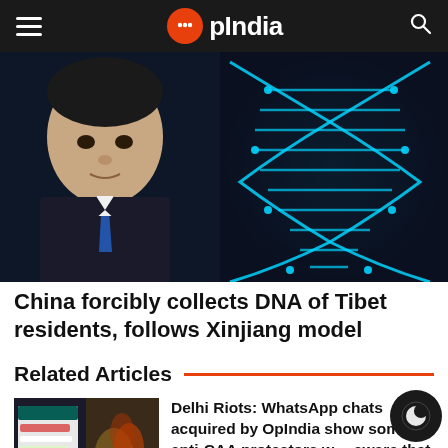OpIndia
[Figure (photo): A Chinese official in a dark suit with a blue tie on the left, and a large glowing cyan DNA double helix structure on the right, set against a dark blue background.]
China forcibly collects DNA of Tibet residents, follows Xinjiang model
Related Articles
[Figure (photo): Thumbnail image showing WhatsApp chat screenshots on the left and a crowd scene on the right.]
Delhi Riots: WhatsApp chats acquired by OpIndia show some anti-CAA protestors were aware that violence was planned, discussed 'de-